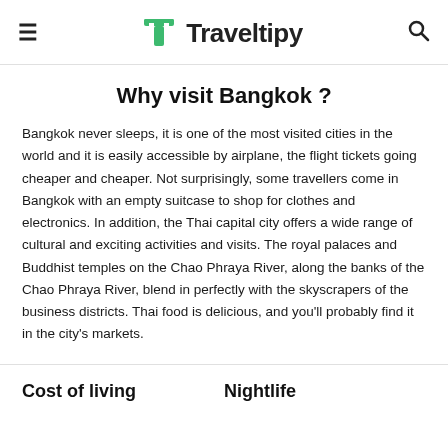Traveltipy
Why visit Bangkok ?
Bangkok never sleeps, it is one of the most visited cities in the world and it is easily accessible by airplane, the flight tickets going cheaper and cheaper. Not surprisingly, some travellers come in Bangkok with an empty suitcase to shop for clothes and electronics. In addition, the Thai capital city offers a wide range of cultural and exciting activities and visits. The royal palaces and Buddhist temples on the Chao Phraya River, along the banks of the Chao Phraya River, blend in perfectly with the skyscrapers of the business districts. Thai food is delicious, and you'll probably find it in the city's markets.
Cost of living
Nightlife